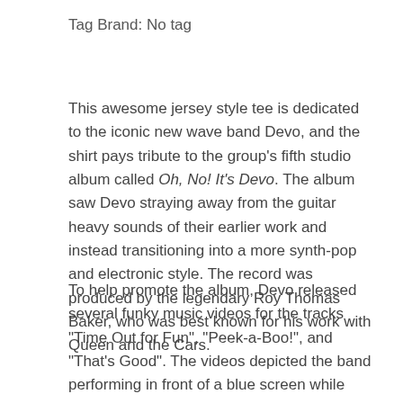Tag Brand: No tag
This awesome jersey style tee is dedicated to the iconic new wave band Devo, and the shirt pays tribute to the group's fifth studio album called Oh, No! It's Devo. The album saw Devo straying away from the guitar heavy sounds of their earlier work and instead transitioning into a more synth-pop and electronic style. The record was produced by the legendary Roy Thomas Baker, who was best known for his work with Queen and the Cars.
To help promote the album, Devo released several funky music videos for the tracks "Time Out for Fun", "Peek-a-Boo!", and "That's Good". The videos depicted the band performing in front of a blue screen while relevant imagery was projected behind them. The videos were a far cry